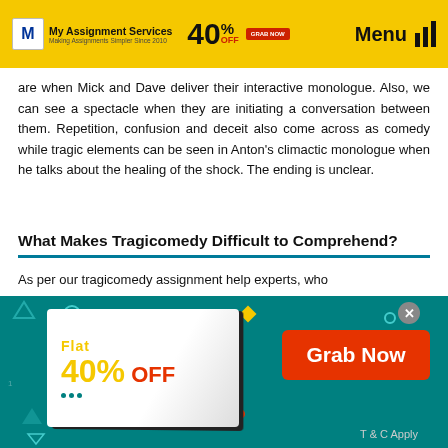My Assignment Services — Making Assignments Simpler Since 2010 | 40% OFF | Menu
are when Mick and Dave deliver their interactive monologue. Also, we can see a spectacle when they are initiating a conversation between them. Repetition, confusion and deceit also come across as comedy while tragic elements can be seen in Anton's climactic monologue when he talks about the healing of the shock. The ending is unclear.
What Makes Tragicomedy Difficult to Comprehend?
As per our tragicomedy assignment help experts, who
[Figure (infographic): Promotional ad banner with teal background showing 'Flat 40% OFF' promo card on left and 'Grab Now' red button on right, with 'T & C Apply' text at bottom right]